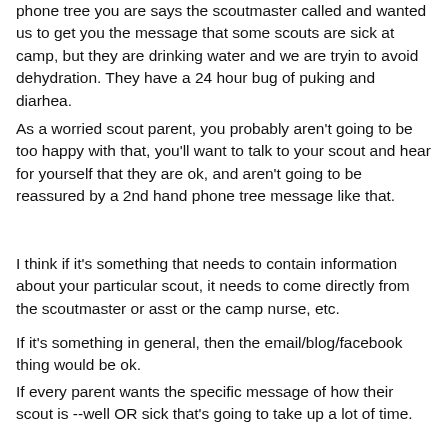phone tree you are says the scoutmaster called and wanted us to get you the message that some scouts are sick at camp, but they are drinking water and we are tryin to avoid dehydration. They have a 24 hour bug of puking and diarhea.
As a worried scout parent, you probably aren't going to be too happy with that, you'll want to talk to your scout and hear for yourself that they are ok, and aren't going to be reassured by a 2nd hand phone tree message like that.
I think if it's something that needs to contain information about your particular scout, it needs to come directly from the scoutmaster or asst or the camp nurse, etc.
If it's something in general, then the email/blog/facebook thing would be ok.
If every parent wants the specific message of how their scout is --well OR sick that's going to take up a lot of time.